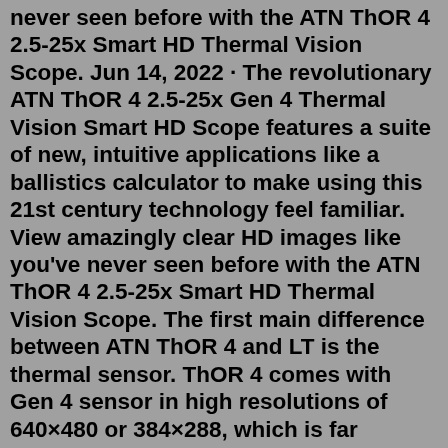never seen before with the ATN ThOR 4 2.5-25x Smart HD Thermal Vision Scope. Jun 14, 2022 · The revolutionary ATN ThOR 4 2.5-25x Gen 4 Thermal Vision Smart HD Scope features a suite of new, intuitive applications like a ballistics calculator to make using this 21st century technology feel familiar. View amazingly clear HD images like you've never seen before with the ATN ThOR 4 2.5-25x Smart HD Thermal Vision Scope. The first main difference between ATN ThOR 4 and LT is the thermal sensor. ThOR 4 comes with Gen 4 sensor in high resolutions of 640×480 or 384×288, which is far superior than ThOR LT that comes with Lite Thermal sensor at lower resolutions of 320×240 or 160×120. The 16+ hours battery life of ATN ThOR 4 is also significantly longer than the ...Jul 07, 2022 · ATN ThOR 4 is a new series of thermal scopes from ATN that has a new Obsidian IV Dual-core processor that is smarter and more powerful that provides better performance, more advanced features, improves power efficiency and cooling performance. The new core processors